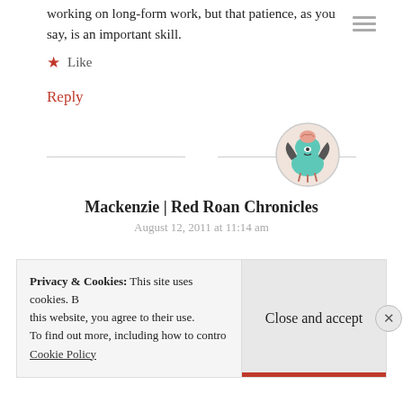working on long-form work, but that patience, as you say, is an important skill.
★ Like
Reply
[Figure (illustration): Circular avatar of a cartoon character - a blue/teal creature with bat wings and a brain visible on top, pink background circle, gray border]
Mackenzie | Red Roan Chronicles
August 12, 2011 at 11:14 am
Privacy & Cookies: This site uses cookies. By continuing to use this website, you agree to their use.
To find out more, including how to control cookies, see here:
Cookie Policy
Close and accept